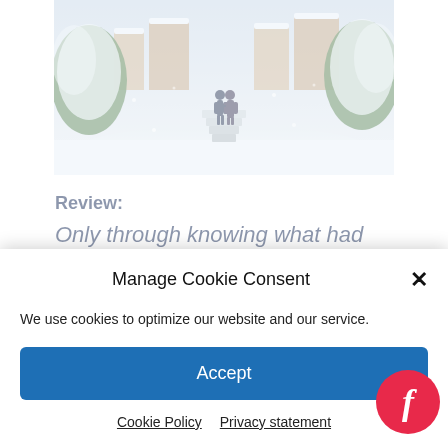[Figure (photo): A snowy winter scene with a couple standing at the top of stairs, surrounded by snow-covered trees and buildings]
Review:
Only through knowing what had come before could anybody move forward.
This is such an opportune thought for our
Manage Cookie Consent
We use cookies to optimize our website and our service.
Accept
Cookie Policy  Privacy statement